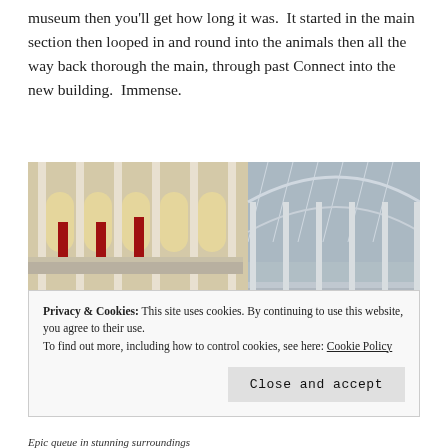museum then you'll get how long it was.  It started in the main section then looped in and round into the animals then all the way back thorough the main, through past Connect into the new building.  Immense.
[Figure (photo): Interior of a large museum hall with tall white columns, arched windows, multi-level galleries, and a domed glass ceiling. Visitors can be seen on the lower level.]
Privacy & Cookies: This site uses cookies. By continuing to use this website, you agree to their use.
To find out more, including how to control cookies, see here: Cookie Policy
Close and accept
Epic queue in stunning surroundings